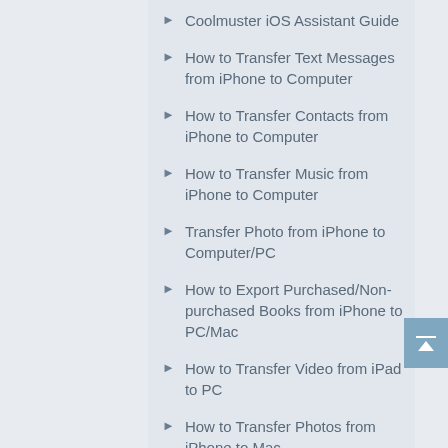Coolmuster iOS Assistant Guide
How to Transfer Text Messages from iPhone to Computer
How to Transfer Contacts from iPhone to Computer
How to Transfer Music from iPhone to Computer
Transfer Photo from iPhone to Computer/PC
How to Export Purchased/Non-purchased Books from iPhone to PC/Mac
How to Transfer Video from iPad to PC
How to Transfer Photos from iPhone to Mac
Transfer Music from iPad to Computer